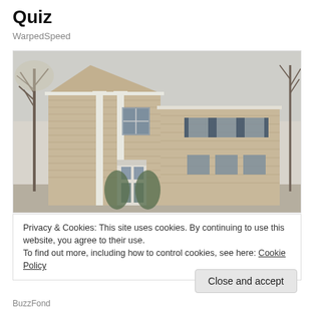Quiz
WarpedSpeed
[Figure (photo): Exterior photo of a two-story beige/tan colonial-style house with white columns and shuttered windows, surrounded by bare trees in early spring.]
Privacy & Cookies: This site uses cookies. By continuing to use this website, you agree to their use.
To find out more, including how to control cookies, see here: Cookie Policy
Close and accept
BuzzFond